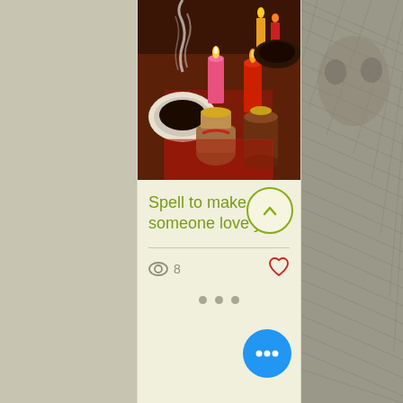[Figure (photo): Screenshot of a mobile app card showing a ritual/candle arrangement photo with text 'Spell to make someone love you', view count of 8, heart/like icon, up-chevron button, pagination dots, and a blue FAB button with three dots]
Spell to make someone love you
8